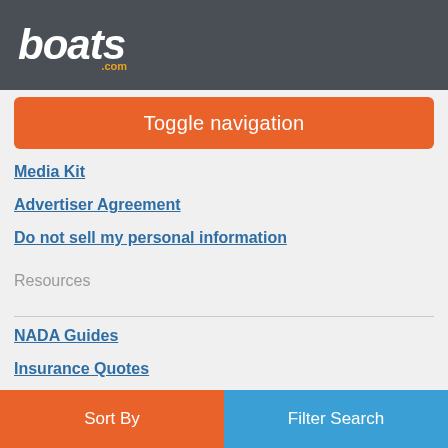boats.com
Toggle navigation
Media Kit
Advertiser Agreement
Do not sell my personal information
Resources
NADA Guides
Insurance Quotes
Boat Transport
Follow boats.com
[Figure (infographic): Social media icons: Facebook, Twitter, YouTube, Instagram]
Sort By | Filter Search